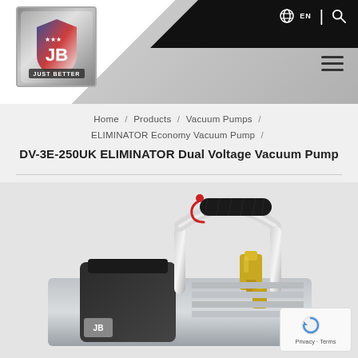[Figure (logo): JB Industries 'Just Better' logo — metallic badge with US flag shield and JB lettering]
Home / Products / Vacuum Pumps / ELIMINATOR Economy Vacuum Pump /
DV-3E-250UK ELIMINATOR Dual Voltage Vacuum Pump
[Figure (photo): DV-3E-250UK ELIMINATOR Dual Voltage Vacuum Pump product photo showing the vacuum pump with chrome carry handle wrapped in black foam grip with red hook, black motor cover, brass fittings, and metallic body]
Privacy · Terms